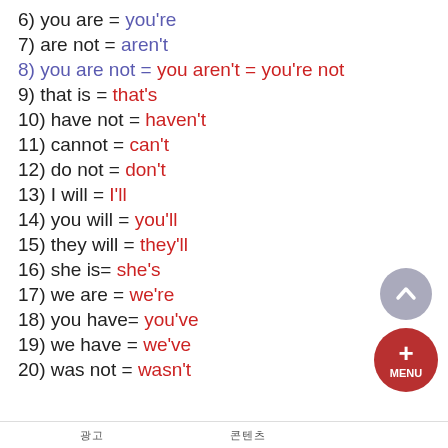6) you are = you're
7) are not = aren't
8) you are not = you aren't = you're not
9) that is = that's
10) have not = haven't
11) cannot = can't
12) do not = don't
13) I will = I'll
14) you will = you'll
15) they will = they'll
16) she is= she's
17) we are = we're
18) you have= you've
19) we have = we've
20) was not = wasn't
광고 　　　　　　콘텐츠